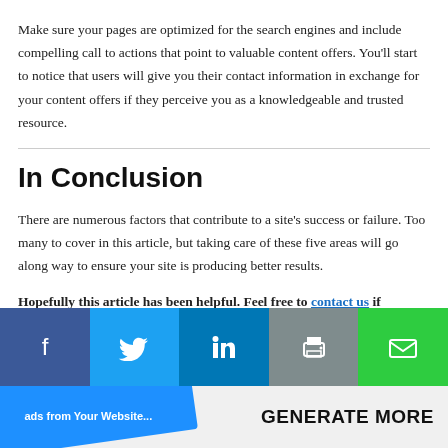Make sure your pages are optimized for the search engines and include compelling call to actions that point to valuable content offers. You'll start to notice that users will give you their contact information in exchange for your content offers if they perceive you as a knowledgeable and trusted resource.
In Conclusion
There are numerous factors that contribute to a site's success or failure. Too many to cover in this article, but taking care of these five areas will go along way to ensure your site is producing better results.
Hopefully this article has been helpful. Feel free to contact us if
[Figure (other): Social sharing bar with five buttons: Facebook (dark blue), Twitter (light blue), LinkedIn (blue), Print (grey), Email (green)]
[Figure (other): Bottom strip with angled blue card showing 'Leads from Your Website...' text on left, and bold text 'GENERATE MORE' on right]